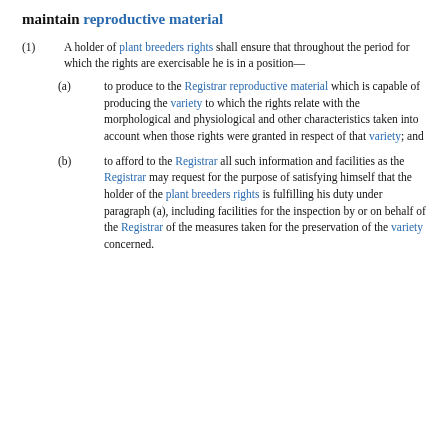maintain reproductive material
(1) A holder of plant breeders rights shall ensure that throughout the period for which the rights are exercisable he is in a position—
(a) to produce to the Registrar reproductive material which is capable of producing the variety to which the rights relate with the morphological and physiological and other characteristics taken into account when those rights were granted in respect of that variety; and
(b) to afford to the Registrar all such information and facilities as the Registrar may request for the purpose of satisfying himself that the holder of the plant breeders rights is fulfilling his duty under paragraph (a), including facilities for the inspection by or on behalf of the Registrar of the measures taken for the preservation of the variety concerned.